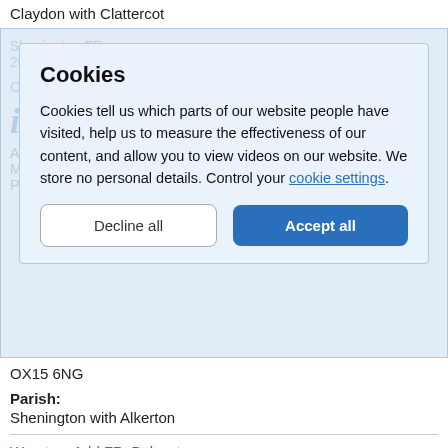Claydon with Clattercot
Cookies
Cookies tell us which parts of our website people have visited, help us to measure the effectiveness of our content, and allow you to view videos on our website. We store no personal details. Control your cookie settings.
Decline all  Accept all
OX15 6NG
Parish:
Shenington with Alkerton
Wroxton: Add FP: Balscote
Our reference: